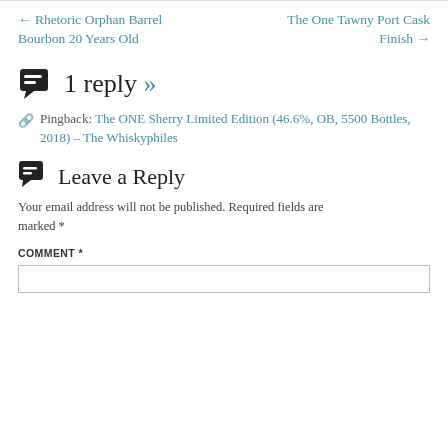← Rhetoric Orphan Barrel Bourbon 20 Years Old
The One Tawny Port Cask Finish →
1 reply »
Pingback: The ONE Sherry Limited Edition (46.6%, OB, 5500 Bottles, 2018) – The Whiskyphiles
Leave a Reply
Your email address will not be published. Required fields are marked *
COMMENT *